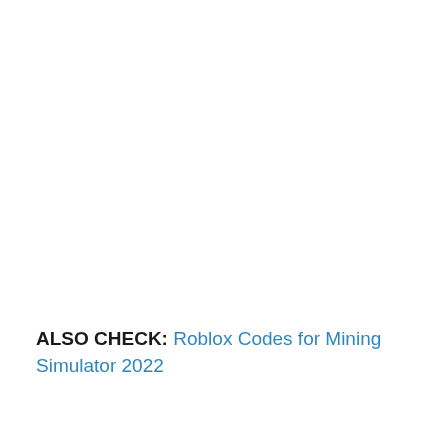ALSO CHECK: Roblox Codes for Mining Simulator 2022